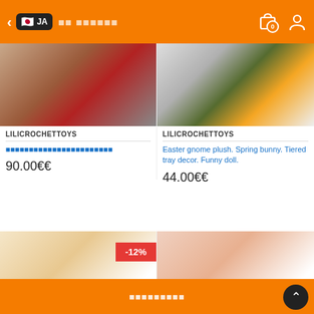JA | store navigation header with cart and user icons
[Figure (photo): Handmade crochet doll/toys held in hand - product image left]
LILICROCHETTOYS
日本語商品タイトル (Japanese product title)
90.00€€
[Figure (photo): Easter gnome plush toy with green hat and carrot - product image right]
LILICROCHETTOYS
Easter gnome plush. Spring bunny. Tiered tray decor. Funny doll.
44.00€€
[Figure (photo): Crochet doll product with -12% discount badge]
[Figure (photo): Crochet bunny/rabbit product image]
フッターテキスト (Japanese footer text)